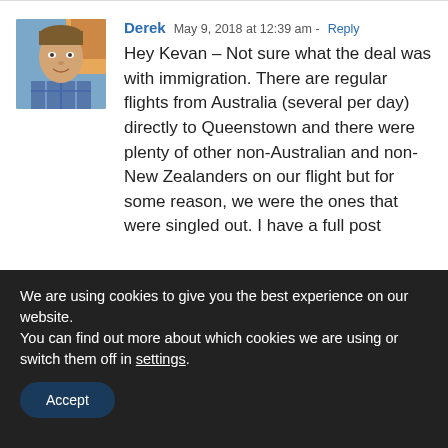Derek  May 9, 2018 at 12:39 am - Reply
Hey Kevan – Not sure what the deal was with immigration. There are regular flights from Australia (several per day) directly to Queenstown and there were plenty of other non-Australian and non-New Zealanders on our flight but for some reason, we were the ones that were singled out. I have a full post
We are using cookies to give you the best experience on our website.
You can find out more about which cookies we are using or switch them off in settings.